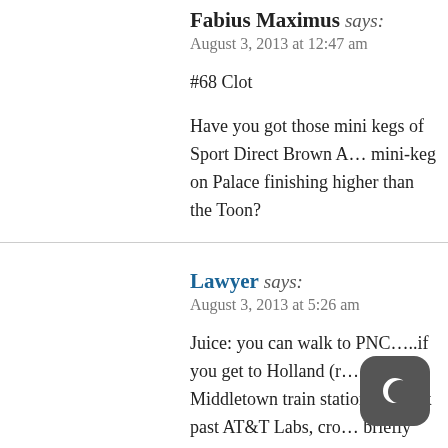Fabius Maximus says:
August 3, 2013 at 12:47 am
#68 Clot
Have you got those mini kegs of Sport Direct Brown A… mini-keg on Palace finishing higher than the Toon?
Lawyer says:
August 3, 2013 at 5:26 am
Juice: you can walk to PNC…..if you get to Holland (r… Middletown train station)….walk past AT&T Labs, cro… briefly turns into Telegraph Hill Road, and make a left … get to the parkway, you can go up Memorial Road, whi… lot at PNC……let me check the mileage…